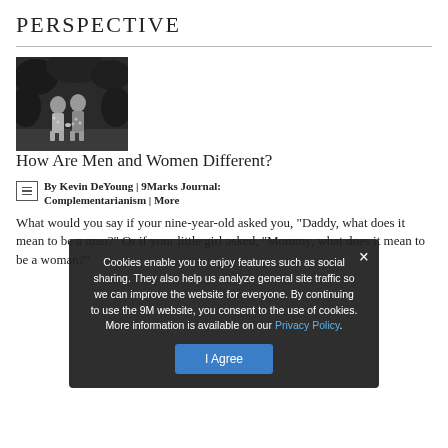PERSPECTIVE
[Figure (photo): Black and white photo of two people walking together outdoors, viewed from behind, among trees or bushes]
How Are Men and Women Different?
By Kevin DeYoung | 9Marks Journal: Complementarianism | More
What would you say if your nine-year-old asked you, "Daddy, what does it mean to be a man?" Or if your little girl asked, "Mommy, what does it mean to be a woman?"
Cookies enable you to enjoy features such as social sharing. They also help us analyze general site traffic so we can improve the website for everyone. By continuing to use the 9M website, you consent to the use of cookies. More information is available on our Privacy Policy.
I Agree